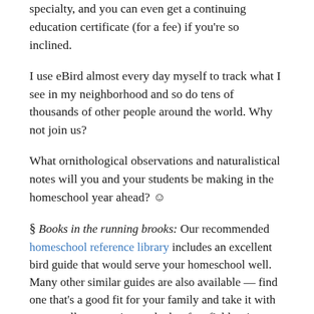specialty, and you can even get a continuing education certificate (for a fee) if you're so inclined.
I use eBird almost every day myself to track what I see in my neighborhood and so do tens of thousands of other people around the world. Why not join us?
What ornithological observations and naturalistical notes will you and your students be making in the homeschool year ahead? ☺
§ Books in the running brooks: Our recommended homeschool reference library includes an excellent bird guide that would serve your homeschool well. Many other similar guides are also available — find one that's a good fit for your family and take it with you on all your outings, whether far afield or just out to the backyard. 🔖